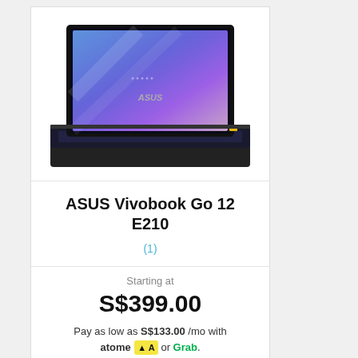[Figure (photo): ASUS Vivobook Go 12 E210 laptop with blue/purple gradient screen and black body, shown open from slightly above]
ASUS Vivobook Go 12 E210
(1)
Starting at
S$399.00
Pay as low as S$133.00 /mo with atome A or Grab.
Add to Cart